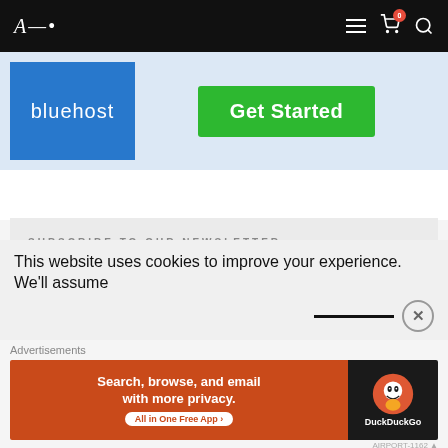Navigation bar with logo and icons
[Figure (screenshot): Bluehost advertisement banner with blue logo on left and green 'Get Started' button on right]
SUBSCRIBE TO OUR NEWSLETTER
First name or full name
This website uses cookies to improve your experience. We'll assume
Advertisements
[Figure (screenshot): DuckDuckGo advertisement: Search, browse, and email with more privacy. All in One Free App]